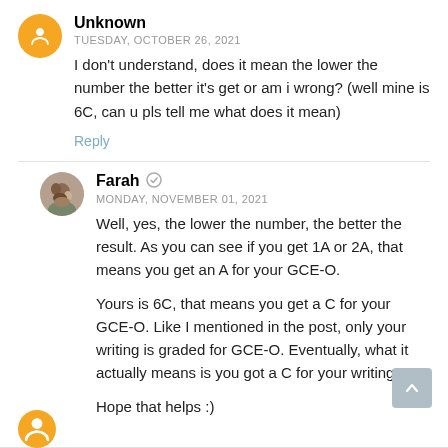Unknown
TUESDAY, OCTOBER 26, 2021
I don't understand, does it mean the lower the number the better it's get or am i wrong? (well mine is 6C, can u pls tell me what does it mean)
Reply
Farah
MONDAY, NOVEMBER 01, 2021
Well, yes, the lower the number, the better the result. As you can see if you get 1A or 2A, that means you get an A for your GCE-O.
Yours is 6C, that means you get a C for your GCE-O. Like I mentioned in the post, only your writing is graded for GCE-O. Eventually, what it actually means is you got a C for your writing.
Hope that helps :)